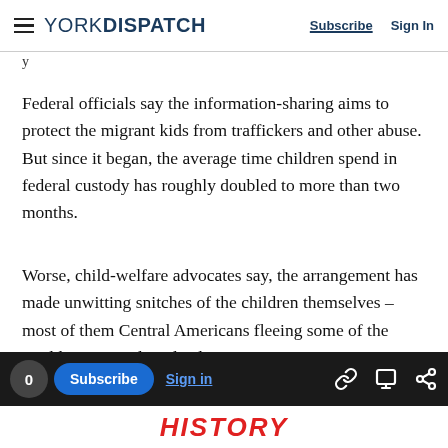YORK DISPATCH | Subscribe  Sign In
y
Federal officials say the information-sharing aims to protect the migrant kids from traffickers and other abuse. But since it began, the average time children spend in federal custody has roughly doubled to more than two months.
Worse, child-welfare advocates say, the arrangement has made unwitting snitches of the children themselves – most of them Central Americans fleeing some of the world's most violent, lawless nations.
0  Subscribe  Sign in  [link icon] [comment icon] [share icon]
HISTORY